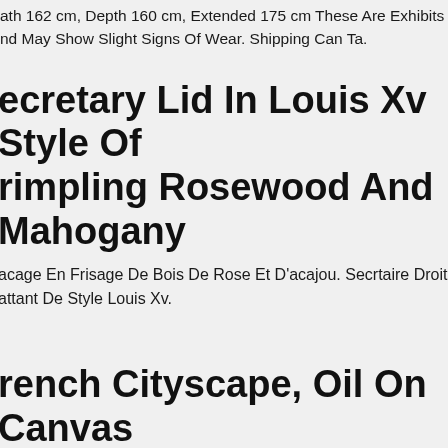ath 162 cm, Depth 160 cm, Extended 175 cm These Are Exhibits And May Show Slight Signs Of Wear. Shipping Can Ta.
Secretary Lid In Louis Xv Style Of Crimpling Rosewood And Mahogany
acage En Frisage De Bois De Rose Et D'acajou. Secrtaire Droit battant De Style Louis Xv.
French Cityscape, Oil On Canvas Painting. By: Louis Hector Demailly
Luis Xv Bronze Mounted Chinese Export Centerpiece Bowl Or Vase. A xquisite Louis Xv Style Bronze Mounted Chinese Export Centerpiece Bowl. The Porcelain Bowl Is Finely Hand Painted With Exotic Birds, ragon Fruits And Plants. The Bowl Features Two Bronze Handles Wit